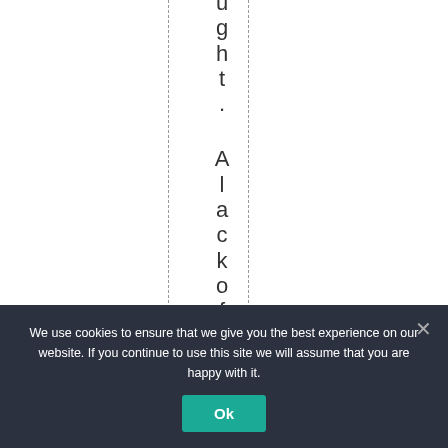ght. Alackoftraining
We use cookies to ensure that we give you the best experience on our website. If you continue to use this site we will assume that you are happy with it.